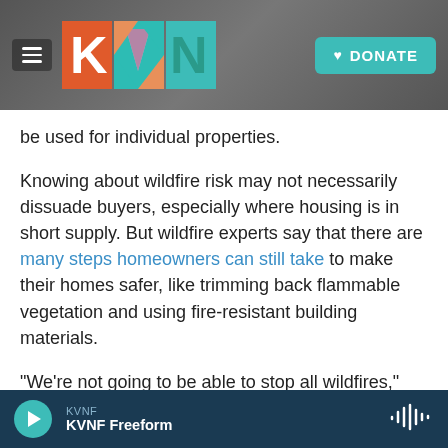KVNF website header with logo and DONATE button
be used for individual properties.
Knowing about wildfire risk may not necessarily dissuade buyers, especially where housing is in short supply. But wildfire experts say that there are many steps homeowners can still take to make their homes safer, like trimming back flammable vegetation and using fire-resistant building materials.
"We're not going to be able to stop all wildfires," says Kelly Pohl, associate director of Headwaters Economics, a land use think tank. "We have a lot of
KVNF — KVNF Freeform (audio player bar)